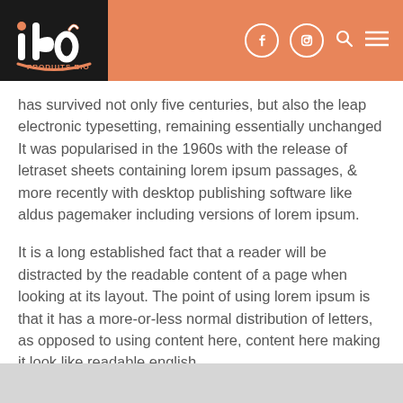ibo PRODUITS BIO — navigation header with logo, facebook, instagram, search, menu icons
has survived not only five centuries, but also the leap electronic typesetting, remaining essentially unchanged It was popularised in the 1960s with the release of letraset sheets containing lorem ipsum passages, & more recently with desktop publishing software like aldus pagemaker including versions of lorem ipsum.
It is a long established fact that a reader will be distracted by the readable content of a page when looking at its layout. The point of using lorem ipsum is that it has a more-or-less normal distribution of letters, as opposed to using content here, content here making it look like readable english.